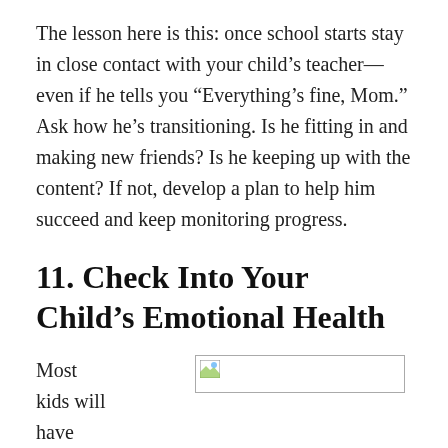The lesson here is this: once school starts stay in close contact with your child's teacher—even if he tells you “Everything’s fine, Mom.” Ask how he’s transitioning. Is he fitting in and making new friends? Is he keeping up with the content? If not, develop a plan to help him succeed and keep monitoring progress.
11. Check Into Your Child’s Emotional Health
[Figure (photo): Broken/unloaded image placeholder with small image icon in top-left corner]
Most kids will have